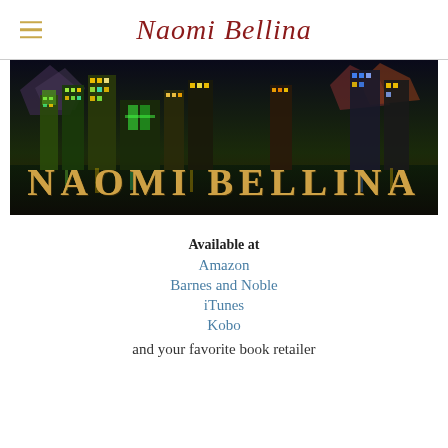Naomi Bellina
[Figure (illustration): Banner image showing a city skyline at night with colorful illuminated skyscrapers and the text 'NAOMI BELLINA' in large gold letters across the bottom]
Available at
Amazon
Barnes and Noble
iTunes
Kobo
and your favorite book retailer